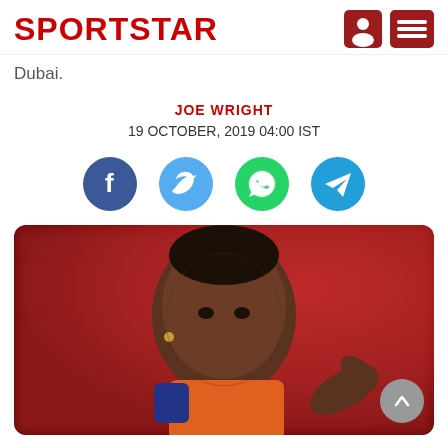SPORTSTAR
Dubai.
JOE WRIGHT
19 OCTOBER, 2019 04:00 IST
[Figure (other): Social sharing icons: Facebook, Twitter, WhatsApp, Telegram]
[Figure (photo): A football player (Paul Pogba) in an orange and blue jersey pointing toward the camera, with a blurred red stadium background]